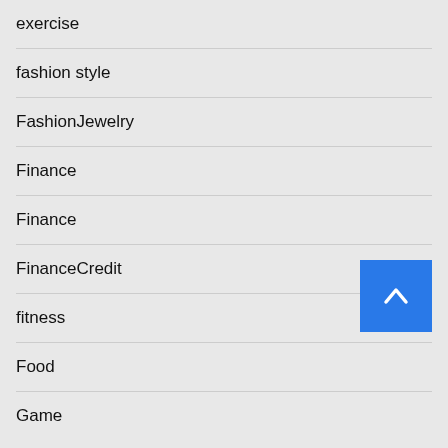exercise
fashion style
FashionJewelry
Finance
Finance
FinanceCredit
fitness
Food
Game